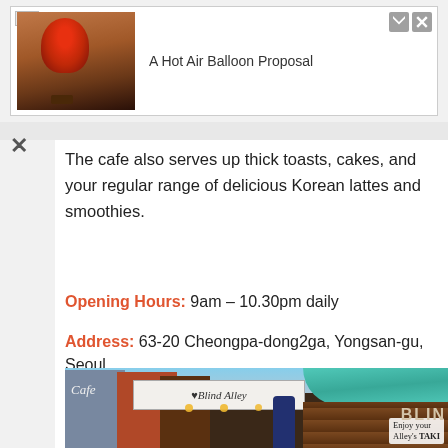[Figure (screenshot): Advertisement banner showing a hot air balloon image with text 'A Hot Air Balloon Proposal']
The cafe also serves up thick toasts, cakes, and your regular range of delicious Korean lattes and smoothies.
Opening Hours: 9am – 10.30pm daily
Address: 63-20 Cheongpa-dong2ga, Yongsan-gu, Seoul
[Figure (photo): Photo of Cafe Blind Alley exterior with signage, brick facade, a person standing at the entrance, and a wooden wall with lights. A sign reads 'Enjoy your Alley's TAKI']